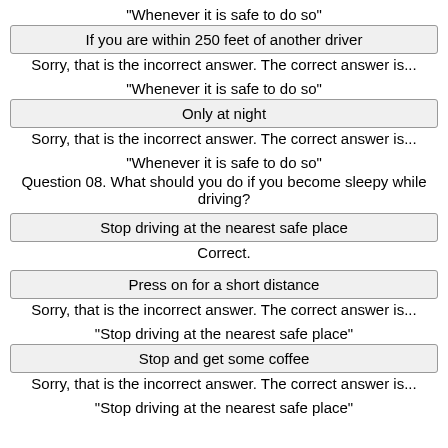"Whenever it is safe to do so"
If you are within 250 feet of another driver
Sorry, that is the incorrect answer. The correct answer is...
"Whenever it is safe to do so"
Only at night
Sorry, that is the incorrect answer. The correct answer is...
"Whenever it is safe to do so"
Question 08. What should you do if you become sleepy while driving?
Stop driving at the nearest safe place
Correct.
Press on for a short distance
Sorry, that is the incorrect answer. The correct answer is...
"Stop driving at the nearest safe place"
Stop and get some coffee
Sorry, that is the incorrect answer. The correct answer is...
"Stop driving at the nearest safe place"